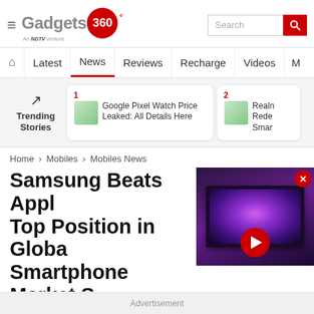Gadgets 360 — An NDTV venture
[Figure (screenshot): Gadgets360 website navigation bar with logo, search bar, and nav items: Latest, News, Reviews, Recharge, Videos, M...]
[Figure (screenshot): Trending Stories section with card 1: Google Pixel Watch Price Leaked: All Details Here, and card 2: Realme Redmi Smart...]
Home > Mobiles > Mobiles News
Samsung Beats Apple Top Position in Global Smartphone Market S... Report
[Figure (screenshot): Video overlay showing a TV with galaxy wallpaper and a red play button, with a red X close button]
Advertisement